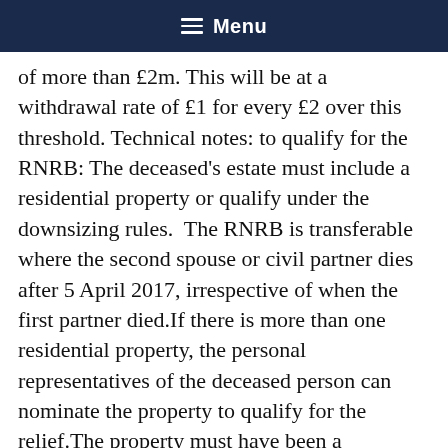Menu
of more than £2m. This will be at a withdrawal rate of £1 for every £2 over this threshold. Technical notes: to qualify for the RNRB: The deceased's estate must include a residential property or qualify under the downsizing rules.  The RNRB is transferable where the second spouse or civil partner dies after 5 April 2017, irrespective of when the first partner died.If there is more than one residential property, the personal representatives of the deceased person can nominate the property to qualify for the relief.The property must have been a residence of the deceased. A buy-to-let property would not qualify for the relief.The property must be left to a direct descendant (including a step-child, adopted child or foster child) or other lineal descendant of the deceased. Planning advice:Readers who have not reviewed their estate